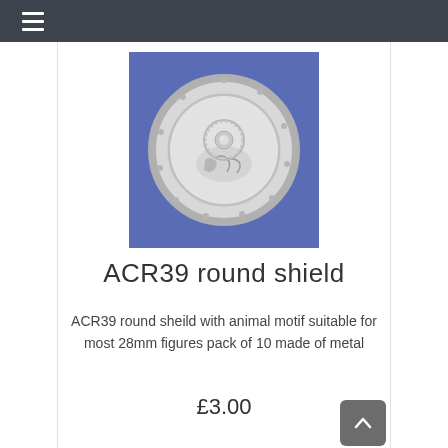≡
[Figure (photo): A round metal shield miniature (ACR39) in grey/white unpainted metal, photographed on a blue felt background. The shield is circular with a central boss, decorative ring detail, rivets around the rim, and an animal motif engraved on the face.]
ACR39 round shield
ACR39 round sheild with animal motif suitable for most 28mm figures pack of 10 made of metal
£3.00